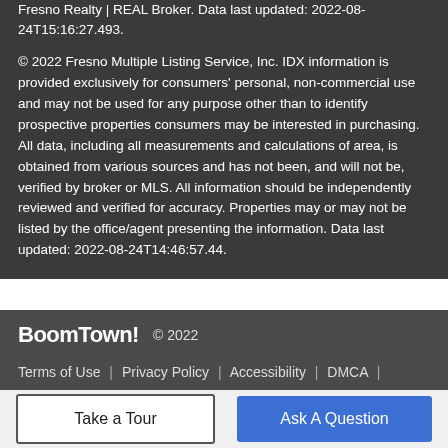Fresno Realty | REAL Broker. Data last updated: 2022-08-24T15:16:27.493.
© 2022 Fresno Multiple Listing Service, Inc. IDX information is provided exclusively for consumers' personal, non-commercial use and may not be used for any purpose other than to identify prospective properties consumers may be interested in purchasing. All data, including all measurements and calculations of area, is obtained from various sources and has not been, and will not be, verified by broker or MLS. All information should be independently reviewed and verified for accuracy. Properties may or may not be listed by the office/agent presenting the information. Data last updated: 2022-08-24T14:46:57.44.
BoomTown! © 2022
Terms of Use | Privacy Policy | Accessibility | DMCA | Listings Sitemap
Take a Tour
Ask A Question